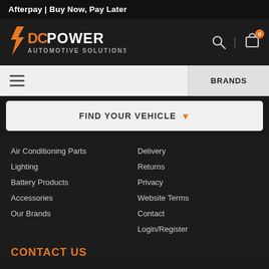Afterpay | Buy Now, Pay Later
[Figure (logo): DC Power Automotive Solutions logo — orange and white stylized text with lightning bolt graphic]
BRANDS
FIND YOUR VEHICLE ▾
Air Conditioning Parts
Lighting
Battery Products
Accessories
Our Brands
Delivery
Returns
Privacy
Website Terms
Contact
Login/Register
CONTACT US